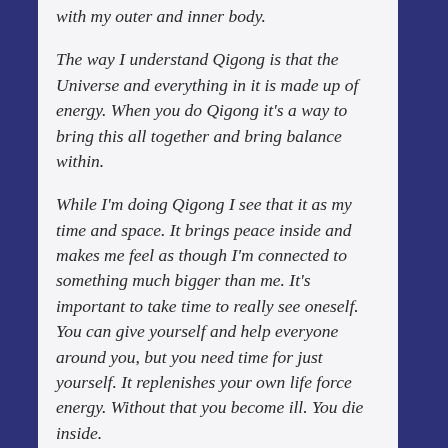with my outer and inner body.
The way I understand Qigong is that the Universe and everything in it is made up of energy. When you do Qigong it's a way to bring this all together and bring balance within.
While I'm doing Qigong I see that it as my time and space. It brings peace inside and makes me feel as though I'm connected to something much bigger than me. It's important to take time to really see oneself. You can give yourself and help everyone around you, but you need time for just yourself. It replenishes your own life force energy. Without that you become ill. You die inside.
I've never had a partner who cared to